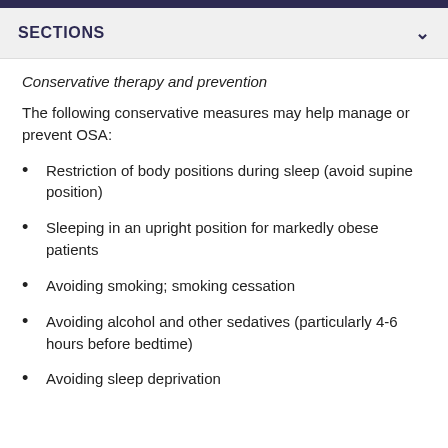SECTIONS
Conservative therapy and prevention
The following conservative measures may help manage or prevent OSA:
Restriction of body positions during sleep (avoid supine position)
Sleeping in an upright position for markedly obese patients
Avoiding smoking; smoking cessation
Avoiding alcohol and other sedatives (particularly 4-6 hours before bedtime)
Avoiding sleep deprivation